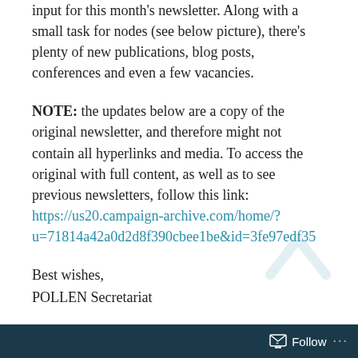input for this month's newsletter. Along with a small task for nodes (see below picture), there's plenty of new publications, blog posts, conferences and even a few vacancies.
NOTE: the updates below are a copy of the original newsletter, and therefore might not contain all hyperlinks and media. To access the original with full content, as well as to see previous newsletters, follow this link: https://us20.campaign-archive.com/home/?u=71814a42a0d2d8f390cbee1be&id=3fe97edf35
Best wishes,
POLLEN Secretariat
PS: for best viewing options, enable the media
Follow